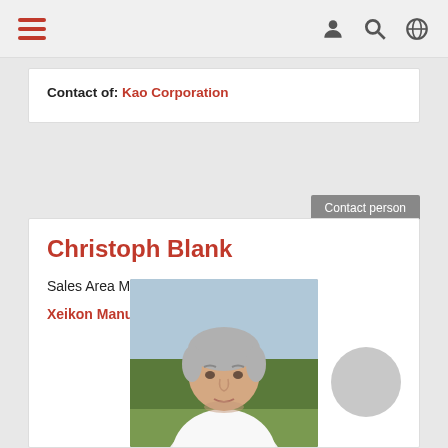Navigation bar with hamburger menu and icons
Contact of: Kao Corporation
Contact person
Christoph Blank
Sales Area Manager Graphic Arts DACH
Xeikon Manufacturing NV
[Figure (photo): Profile photo of Christoph Blank, a middle-aged man with grey hair wearing a white shirt, photographed outdoors with trees in background]